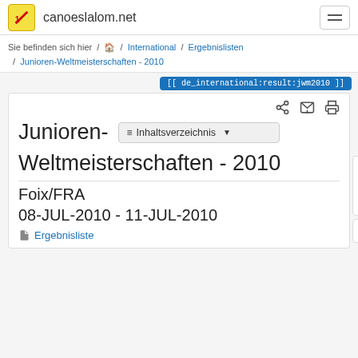canoeslalom.net
Sie befinden sich hier / home / International / Ergebnislisten / Junioren-Weltmeisterschaften - 2010
[[ de_international:result:jwm2010 ]]
Junioren-Weltmeisterschaften - 2010
Foix/FRA
08-JUL-2010 - 11-JUL-2010
Ergebnisliste